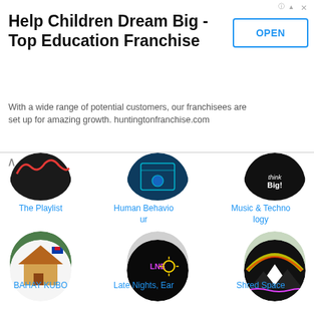[Figure (screenshot): Advertisement banner for Huntington Learning Center franchise - Help Children Dream Big - Top Education Franchise with OPEN button]
Help Children Dream Big - Top Education Franchise
With a wide range of potential customers, our franchisees are set up for amazing growth. huntingtonfranchise.com
[Figure (screenshot): Grid of podcast/group icons: The Playlist, Human Behaviour, Music & Technology in first row; TikTok Creator Club, Jamaica: Roots + Culture, Chronic Illness & Disability in second row; BAHAY KUBO, Late Nights Ear..., Shred Space in third row (partial)]